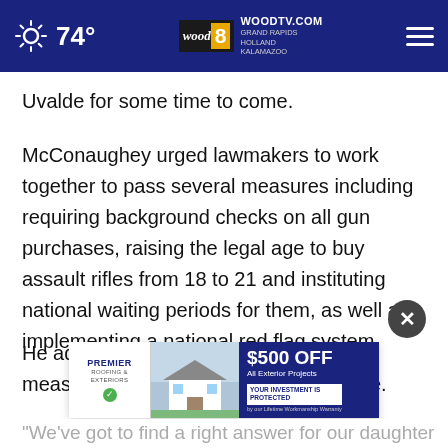74° | WOODTV.COM | GRAND RAPIDS | HOLLAND | KALAMAZOO
Uvalde for some time to come.
McConaughey urged lawmakers to work together to pass several measures including requiring background checks on all gun purchases, raising the legal age to buy assault rifles from 18 to 21 and instituting national waiting periods for them, as well as implementing a national red flag system.
He added that implementing gun control measures should not be a partisan issue.
[Figure (screenshot): Advertisement banner for Premier Roofing & Exteriors offering $500 off all exterior projects with a protected investment guarantee.]
"We've got to find a right answer for our daughter